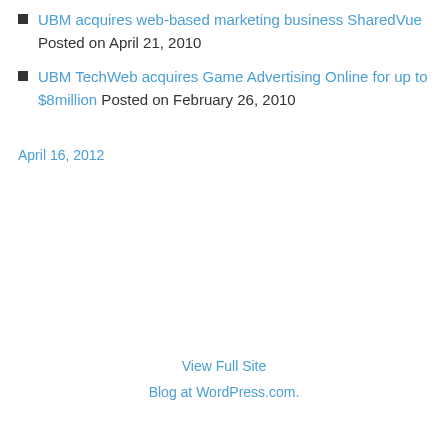UBM acquires web-based marketing business SharedVue Posted on April 21, 2010
UBM TechWeb acquires Game Advertising Online for up to $8million Posted on February 26, 2010
April 16, 2012
View Full Site
Blog at WordPress.com.